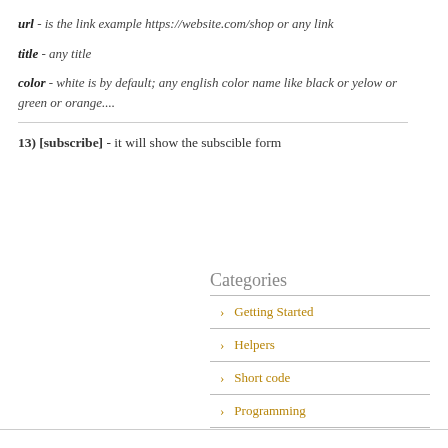url - is the link example https://website.com/shop or any link
title - any title
color - white is by default; any english color name like black or yelow or green or orange....
13) [subscribe] - it will show the subscible form
Categories
Getting Started
Helpers
Short code
Programming